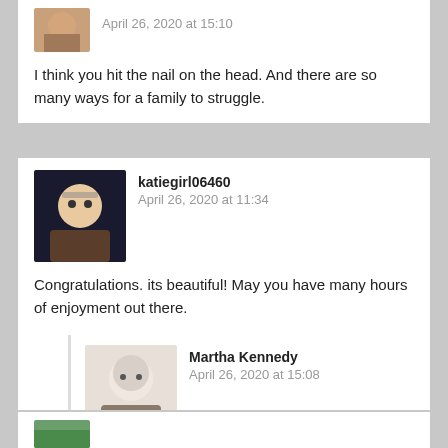[Figure (photo): Small avatar photo of a person, partially visible at top]
April 26, 2020 at 15:10
I think you hit the nail on the head. And there are so many ways for a family to struggle.
[Figure (photo): Avatar photo of katiegirl06460, woman with glasses]
katiegirl06460
April 26, 2020 at 11:34
Congratulations. its beautiful! May you have many hours of enjoyment out there.
[Figure (photo): Avatar photo of Martha Kennedy, woman with white hair]
Martha Kennedy
April 26, 2020 at 15:08
Thank you!! 🙂
[Figure (photo): Partial avatar photo visible at bottom of page]